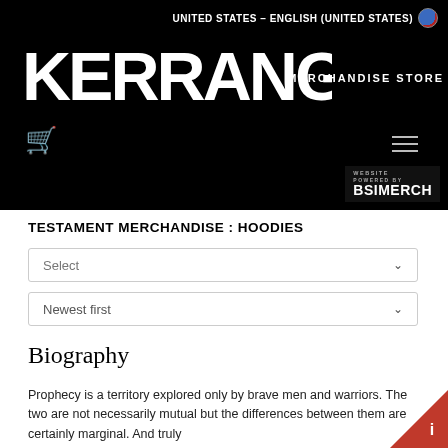UNITED STATES – ENGLISH (UNITED STATES)
[Figure (logo): KERRANG! MERCHANDISE STORE logo on black background with distressed white lettering, shopping cart icon in red, hamburger menu icon, and BSI MERCH powered-by badge]
TESTAMENT MERCHANDISE : HOODIES
Select
Newest first
Biography
Prophecy is a territory explored only by brave men and warriors. The two are not necessarily mutual but the differences between them are certainly marginal. And truly